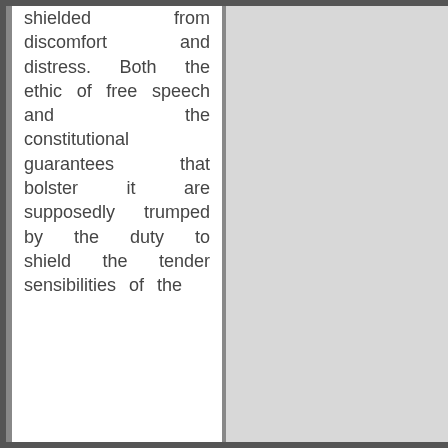shielded from discomfort and distress. Both the ethic of free speech and the constitutional guarantees that bolster it are supposedly trumped by the duty to shield the tender sensibilities of the